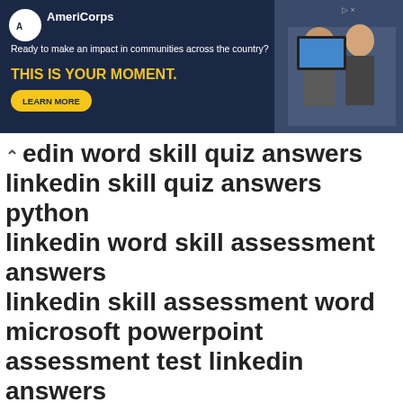[Figure (screenshot): AmeriCorps advertisement banner with dark navy background. Logo, tagline 'Ready to make an impact in communities across the country?', bold yellow text 'THIS IS YOUR MOMENT.', a 'LEARN MORE' button, and a photo of people on the right side.]
linkedin word skill quiz answers
linkedin skill quiz answers python
linkedin word skill assessment answers
linkedin skill assessment word
microsoft powerpoint assessment test linkedin answers